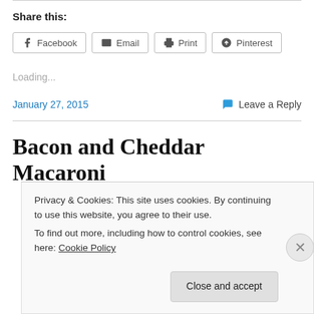Share this:
Facebook  Email  Print  Pinterest
Loading...
January 27, 2015     Leave a Reply
Bacon and Cheddar Macaroni
Privacy & Cookies: This site uses cookies. By continuing to use this website, you agree to their use. To find out more, including how to control cookies, see here: Cookie Policy
Close and accept